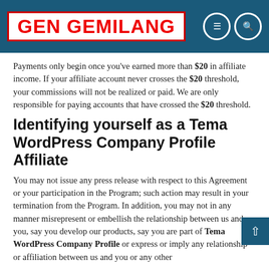GEN GEMILANG
Payments only begin once you've earned more than $20 in affiliate income. If your affiliate account never crosses the $20 threshold, your commissions will not be realized or paid. We are only responsible for paying accounts that have crossed the $20 threshold.
Identifying yourself as a Tema WordPress Company Profile Affiliate
You may not issue any press release with respect to this Agreement or your participation in the Program; such action may result in your termination from the Program. In addition, you may not in any manner misrepresent or embellish the relationship between us and you, say you develop our products, say you are part of Tema WordPress Company Profile or express or imply any relationship or affiliation between us and you or any other